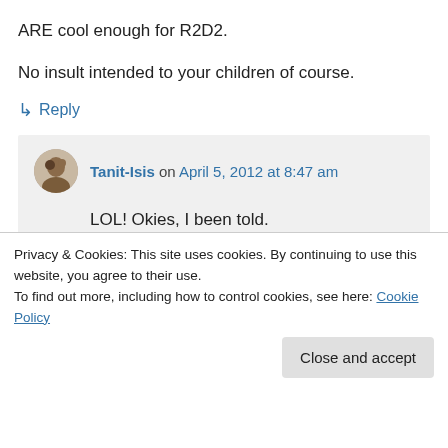ARE cool enough for R2D2.
No insult intended to your children of course.
↳ Reply
Tanit-Isis on April 5, 2012 at 8:47 am
LOL! Okies, I been told.
Love this: “No way you should waste a... shoot on a... hod!” 😒
Privacy & Cookies: This site uses cookies. By continuing to use this website, you agree to their use.
To find out more, including how to control cookies, see here: Cookie Policy
Close and accept